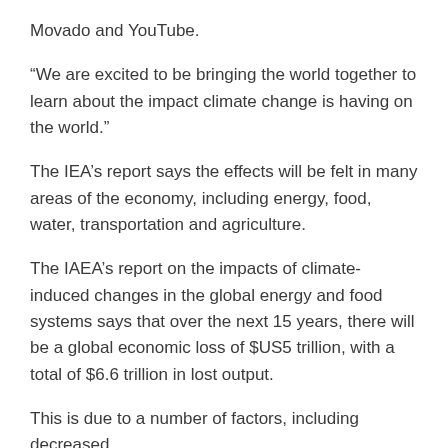Movado and YouTube.
“We are excited to be bringing the world together to learn about the impact climate change is having on the world.”
The IEA’s report says the effects will be felt in many areas of the economy, including energy, food, water, transportation and agriculture.
The IAEA’s report on the impacts of climate-induced changes in the global energy and food systems says that over the next 15 years, there will be a global economic loss of $US5 trillion, with a total of $6.6 trillion in lost output.
This is due to a number of factors, including decreased